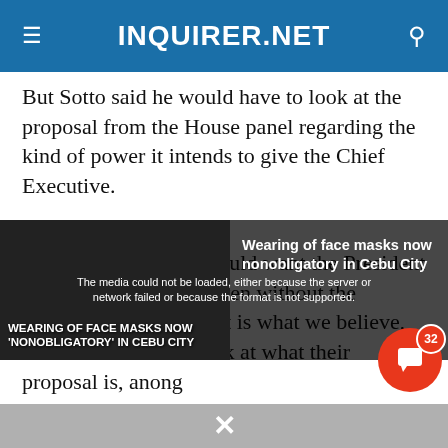INQUIRER.NET
But Sotto said he would have to look at the proposal from the House panel regarding the kind of power it intends to give the Chief Executive.
“Anything that they would want the President to do he can do now, even without the emergency powers, that is what we believe, so we would rather look at what their proposal is, anong
[Figure (screenshot): Embedded video player showing media load error message and thumbnail of 'Wearing of face masks now nonobligatory in Cebu City' news segment]
Wearing of face masks now nonobligatory in Cebu City